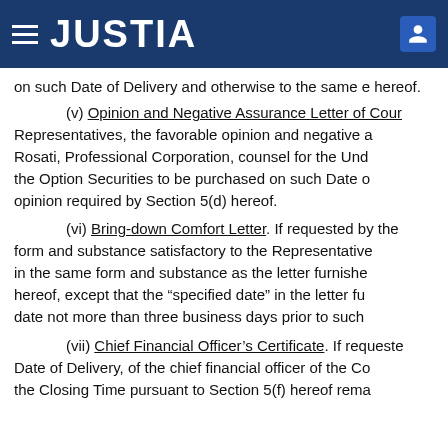JUSTIA
on such Date of Delivery and otherwise to the same e hereof.
(v) Opinion and Negative Assurance Letter of Cour Representatives, the favorable opinion and negative a Rosati, Professional Corporation, counsel for the Und the Option Securities to be purchased on such Date o opinion required by Section 5(d) hereof.
(vi) Bring-down Comfort Letter. If requested by the form and substance satisfactory to the Representative in the same form and substance as the letter furnishe hereof, except that the "specified date" in the letter fu date not more than three business days prior to such
(vii) Chief Financial Officer's Certificate. If requeste Date of Delivery, of the chief financial officer of the Co the Closing Time pursuant to Section 5(f) hereof rema